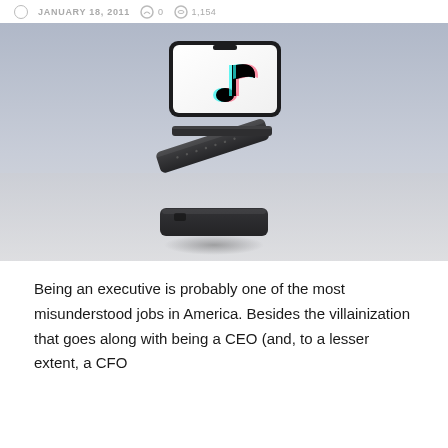JANUARY 18, 2011  0  1,154
[Figure (photo): Exploded view of a smartphone showing TikTok app on screen, separated into layered components floating in mid-air against a gray gradient background, with a shadow beneath.]
Being an executive is probably one of the most misunderstood jobs in America. Besides the villainization that goes along with being a CEO (and, to a lesser extent, a CFO